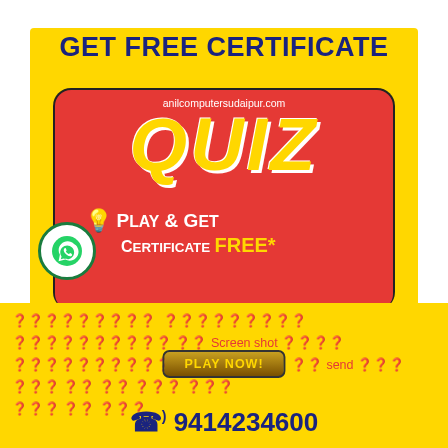GET FREE CERTIFICATE
anilcomputersudaipur.com
QUIZ
Play & Get Certificate FREE*
PLAY NOW!
क्विज़ खेलें प्रतियोगिता का Screen shot लेकर व्हाट्सएप्प नंबर पर send करे और फ्री में अपना नाम देखे
9414234600